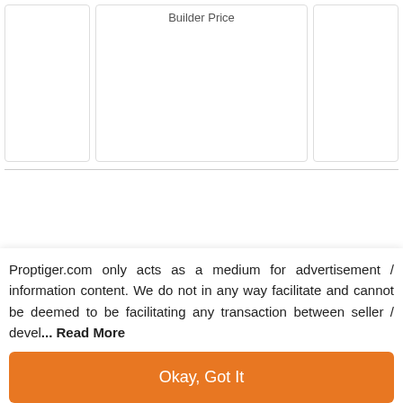[Figure (screenshot): Partial table with three columns, the middle column labeled 'Builder Price', shown at top of page]
Report Error
Tour Proview Officer City
[Figure (screenshot): Video thumbnail showing a man's avatar photo with text 'Officer City, Rajnagar Extension, G...' and a vertical dots menu icon, on a brown/tan background]
Proptiger.com only acts as a medium for advertisement / information content. We do not in any way facilitate and cannot be deemed to be facilitating any transaction between seller / devel... Read More
Okay, Got It